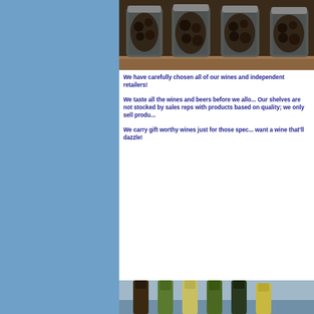[Figure (photo): Glass jars filled with dark preserved foods (olives or similar) displayed on a wooden shelf]
We have carefully chosen all of our wines and independent retailers! We taste all the wines and beers before we allow them in. Our shelves are not stocked by sales reps with products based on quality; we only sell products based on quality; we only sell produ... We carry gift worthy wines just for those spec... want a wine that'll dazzle!
[Figure (photo): Wine bottles displayed on a shelf with a scenic background]